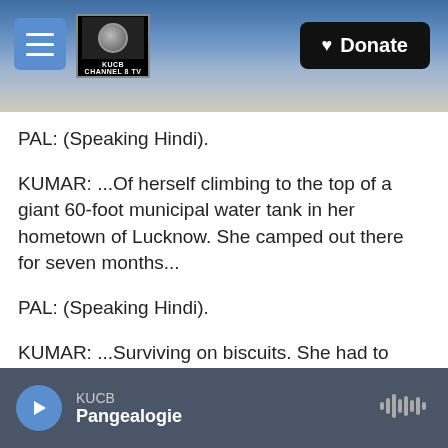[Figure (screenshot): Website header banner with snowy mountain landscape background, hamburger menu button, KUCB Channel 8 TV logo, and Donate button]
PAL: (Speaking Hindi).
KUMAR: ...Of herself climbing to the top of a giant 60-foot municipal water tank in her hometown of Lucknow. She camped out there for seven months...
PAL: (Speaking Hindi).
KUMAR: ...Surviving on biscuits. She had to climb down and walk a mile and a half every time she needed to use the toilet. She did this, she says...
PAL: I'm doing a long protest, approx seven month
KUCB  Pangealogie